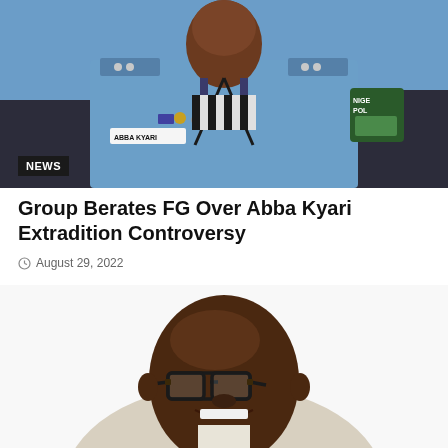[Figure (photo): Police officer in blue Nigerian Police uniform with name tag reading ABBA KYARI and Nigeria Police shoulder patch, seated against dark background. NEWS badge overlaid at bottom left.]
Group Berates FG Over Abba Kyari Extradition Controversy
August 29, 2022
[Figure (photo): Portrait of a bald dark-skinned man wearing black-rimmed glasses, smiling, in a light-colored suit, photographed from shoulders up against a white background.]